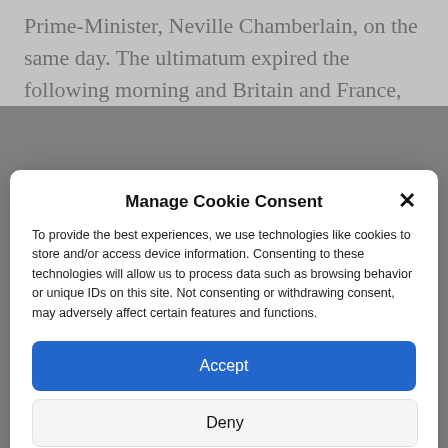Prime-Minister, Neville Chamberlain, on the same day. The ultimatum expired the following morning and Britain and France,
Manage Cookie Consent
To provide the best experiences, we use technologies like cookies to store and/or access device information. Consenting to these technologies will allow us to process data such as browsing behavior or unique IDs on this site. Not consenting or withdrawing consent, may adversely affect certain features and functions.
Accept
Deny
View preferences
Cookie Policy  Privacy Policy